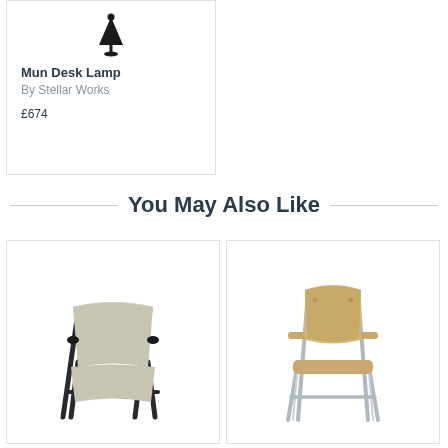[Figure (photo): Product card showing a Mun Desk Lamp from Stellar Works, with a small lamp icon at top, product name in bold, maker name in grey, and price £674]
You May Also Like
[Figure (photo): Safari-style lounge chair with canvas sling seat and dark wooden frame]
[Figure (photo): Modern dining chair with light oak back and seat, chrome metal legs and armrests]